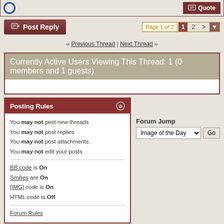Post Reply | Page 1 of 2  1 2 >
« Previous Thread | Next Thread »
Currently Active Users Viewing This Thread: 1 (0 members and 1 guests)
Posting Rules
You may not post new threads
You may not post replies
You may not post attachments
You may not edit your posts
BB code is On
Smilies are On
[IMG] code is On
HTML code is Off
Forum Rules
Forum Jump  Image of the Day  Go
All times are GMT -5. The time now is 12:58 PM.
---- cellar.org    Eat cookies · Contact Us - The Cellar - Archive - Top
Powered by: vBulletin Version 3.8.1
Copyright ©2000 - 2022, Jelsoft Enterprises Ltd.